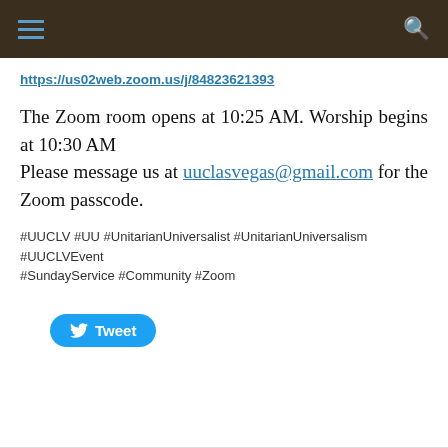https://us02web.zoom.us/j/84823621393
The Zoom room opens at 10:25 AM. Worship begins at 10:30 AM
Please message us at uuclasvegas@gmail.com for the Zoom passcode.
#UUCLV #UU #UnitarianUniversalist #UnitarianUniversalism #UUCLVEvent
#SundayService #Community #Zoom
Tweet